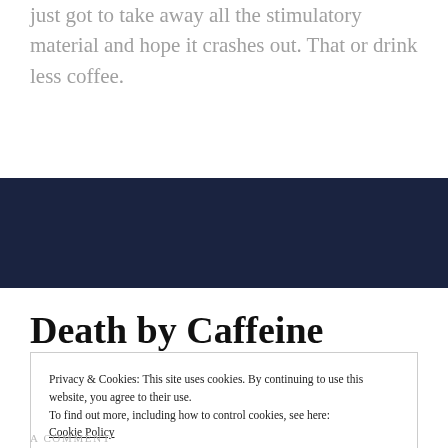just got to take away all the stimulatory material and hope it crashes out. That or drink less coffee.
[Figure (other): Dark navy blue horizontal banner/divider bar]
Death by Caffeine
Privacy & Cookies: This site uses cookies. By continuing to use this website, you agree to their use.
To find out more, including how to control cookies, see here:
Cookie Policy

Close and accept
A COMMENT